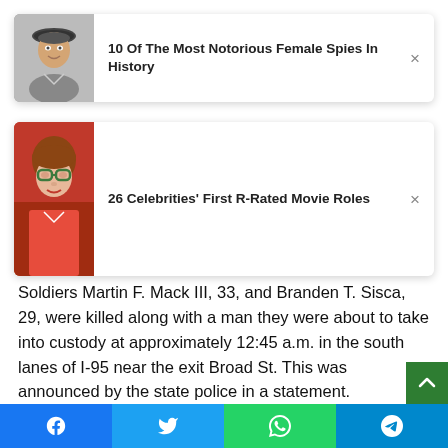[Figure (photo): Card: black-and-white photo of a woman wearing a beret, next to headline '10 Of The Most Notorious Female Spies In History' with an X close button]
[Figure (photo): Card: color photo of a young woman wearing green-tinted glasses and red top, next to headline '26 Celebrities' First R-Rated Movie Roles' with an X close button]
Two Pennsylvania state police officers were killed when a car mowed them down during a traffic stop in Philadelphia early Monday, authorities said.
Soldiers Martin F. Mack III, 33, and Branden T. Sisca, 29, were killed along with a man they were about to take into custody at approximately 12:45 a.m. in the south lanes of I-95 near the exit Broad St. This was announced by the state police in a statement.
[Figure (infographic): Social share bar with Facebook (blue), Twitter (light blue), WhatsApp (green), Telegram (teal) buttons]